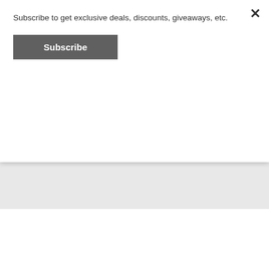×
Subscribe to get exclusive deals, discounts, giveaways, etc.
Subscribe
Email Address
Sign me up!
Join 1,755 other followers
[Figure (screenshot): Advertisement banner showing Ulta Beauty ad with makeup imagery and Shop Now button]
Advertisements